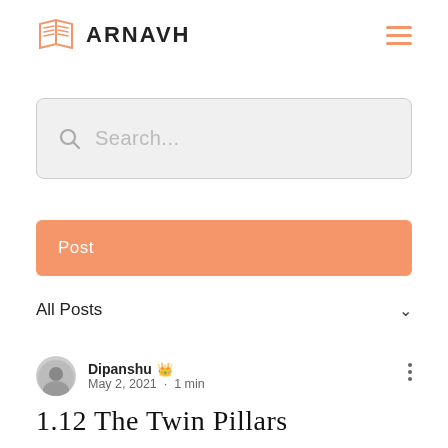ARNAVH
[Figure (screenshot): Search input field with placeholder text 'Search...' on grey background]
[Figure (screenshot): Orange 'Post' button]
All Posts
Dipanshu 👑 May 2, 2021 · 1 min
1.12 The Twin Pillars